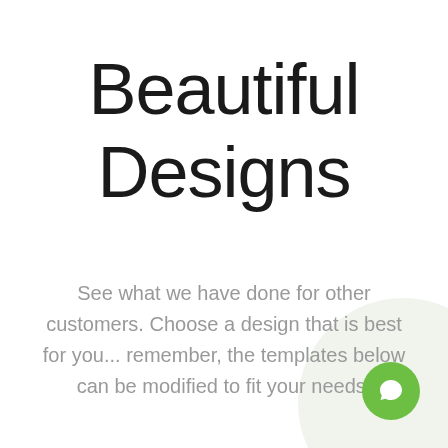Beautiful Designs
See what we have done for other customers. Choose a design that is best for you... remember, the templates below can be modified to fit your needs.
[Figure (illustration): Green chat/message bubble icon button in the bottom-right corner with a large light green decorative circle behind it]